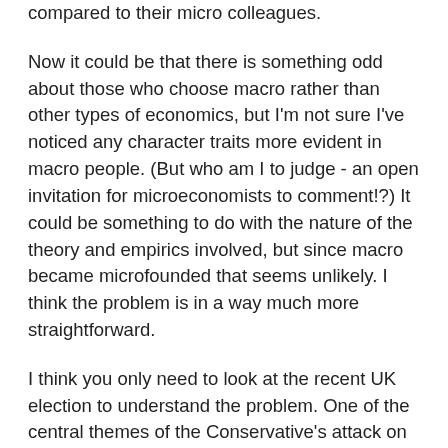compared to their micro colleagues.
Now it could be that there is something odd about those who choose macro rather than other types of economics, but I'm not sure I've noticed any character traits more evident in macro people. (But who am I to judge - an open invitation for microeconomists to comment!?) It could be something to do with the nature of the theory and empirics involved, but since macro became microfounded that seems unlikely. I think the problem is in a way much more straightforward.
I think you only need to look at the recent UK election to understand the problem. One of the central themes of the Conservative's attack on Labour involved their alleged incompetence at running the macroeconomy when they were in power. For whatever reason, macro rather than micro policy issues become central in political debates. That makes macro unusual for various reasons.
One immediate consequence is that many beyond the tribe of macroeconomists think they can write with authority of macroeconomic issues. As a recent example of a shrill